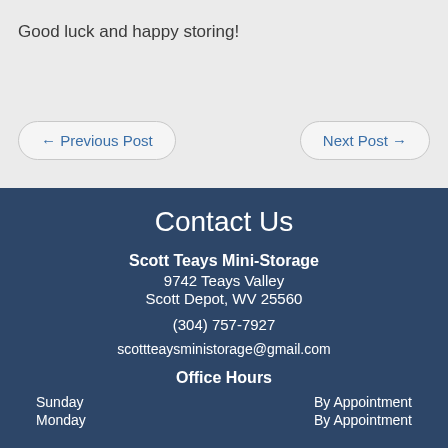Good luck and happy storing!
← Previous Post
Next Post →
Contact Us
Scott Teays Mini-Storage
9742 Teays Valley
Scott Depot, WV 25560
(304) 757-7927
scottteaysministorage@gmail.com
Office Hours
Sunday  By Appointment
Monday  By Appointment